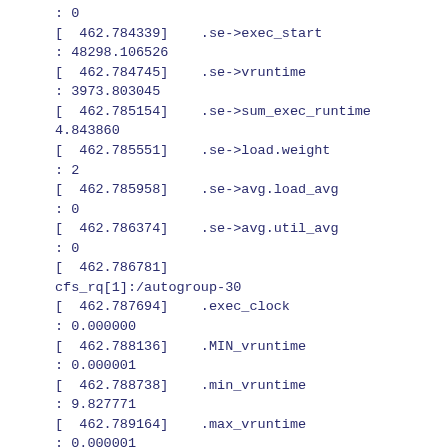: 0
[ 462.784339]    .se->exec_start
: 48298.106526
[ 462.784745]    .se->vruntime
: 3973.803045
[ 462.785154]    .se->sum_exec_runtime          : 4.843860
[ 462.785551]    .se->load.weight
: 2
[ 462.785958]    .se->avg.load_avg
: 0
[ 462.786374]    .se->avg.util_avg
: 0
[ 462.786781]
cfs_rq[1]:/autogroup-30
[ 462.787694]    .exec_clock
: 0.000000
[ 462.788136]    .MIN_vruntime
: 0.000001
[ 462.788738]    .min_vruntime
: 9.827771
[ 462.789164]    .max_vruntime
: 0.000001
[ 462.789567]    .spread
: 0.000000
[ 462.790031]    .spread0
: -91895.017494
[ 462.790396]    .nr_spread_over
: 0